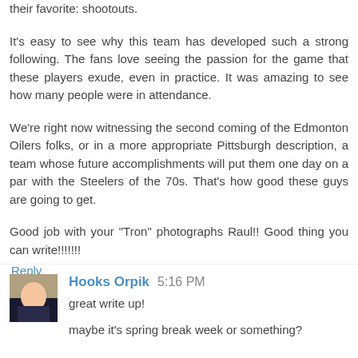their favorite: shootouts.
It's easy to see why this team has developed such a strong following. The fans love seeing the passion for the game that these players exude, even in practice. It was amazing to see how many people were in attendance.
We're right now witnessing the second coming of the Edmonton Oilers folks, or in a more appropriate Pittsburgh description, a team whose future accomplishments will put them one day on a par with the Steelers of the 70s. That's how good these guys are going to get.
Good job with your "Tron" photographs Raul!! Good thing you can write!!!!!!!
Reply
Hooks Orpik  5:16 PM
great write up!
maybe it's spring break week or something?